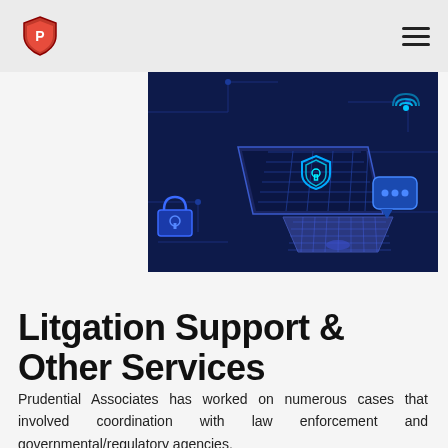[Figure (illustration): Dark blue digital/cybersecurity illustration showing an isometric laptop with a glowing shield and lock icon, circuit board lines, padlock, WiFi symbol, and chat bubble on a dark navy background.]
Litgation Support & Other Services
Prudential Associates has worked on numerous cases that involved coordination with law enforcement and governmental/regulatory agencies.